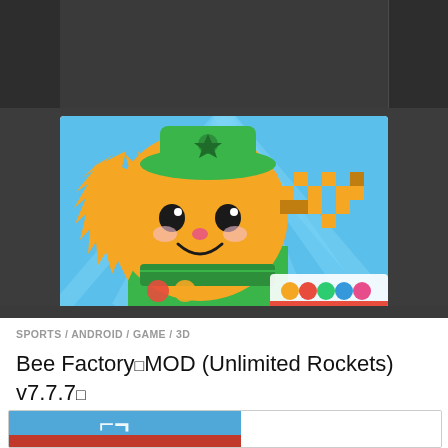[Figure (screenshot): Dark header bar with three column grid layout at top of webpage]
[Figure (illustration): Cartoon yellow cat-like character wearing a green hat and outfit, standing against a blue striped background. App icon for a mobile game.]
SPORTS / ANDROID / GAME / 3D
Bee Factory MOD (Unlimited Rockets) v7.7.7
[Figure (screenshot): Partial view of a second game screenshot showing a vehicle/bus with a logo against a blue sky background]